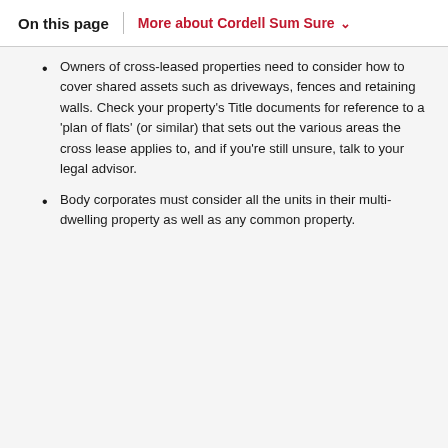On this page | More about Cordell Sum Sure ∨
Owners of cross-leased properties need to consider how to cover shared assets such as driveways, fences and retaining walls. Check your property's Title documents for reference to a 'plan of flats' (or similar) that sets out the various areas the cross lease applies to, and if you're still unsure, talk to your legal advisor.
Body corporates must consider all the units in their multi-dwelling property as well as any common property.